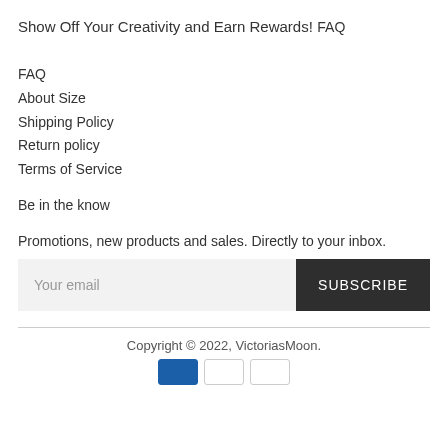Show Off Your Creativity and Earn Rewards!
FAQ
FAQ
About Size
Shipping Policy
Return policy
Terms of Service
Be in the know
Promotions, new products and sales. Directly to your inbox.
Your email | SUBSCRIBE
Copyright © 2022, VictoriasMoon.